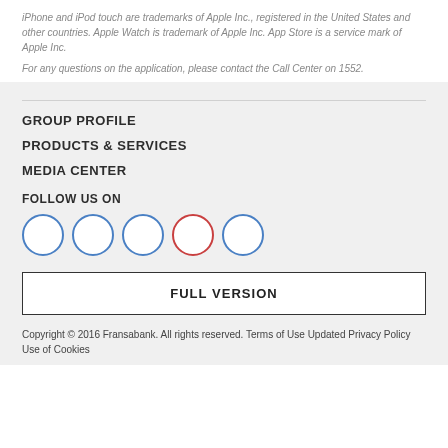iPhone and iPod touch are trademarks of Apple Inc., registered in the United States and other countries. Apple Watch is trademark of Apple Inc. App Store is a service mark of Apple Inc.
For any questions on the application, please contact the Call Center on 1552.
GROUP PROFILE
PRODUCTS & SERVICES
MEDIA CENTER
FOLLOW US ON
[Figure (illustration): Five social media icon circles: first three with blue borders, fourth with red border, fifth with blue border]
FULL VERSION
Copyright © 2016 Fransabank. All rights reserved. Terms of Use Updated Privacy Policy Use of Cookies